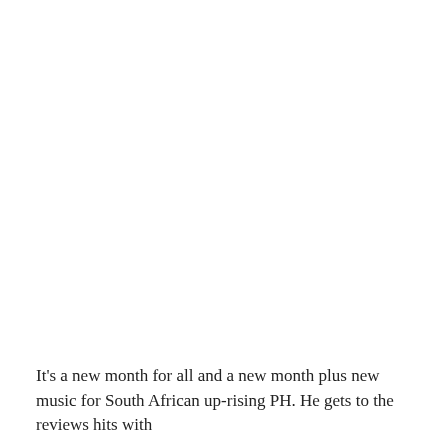It's a new month for all and a new month plus new music for South African up-rising PH. He gets to the reviews hits with